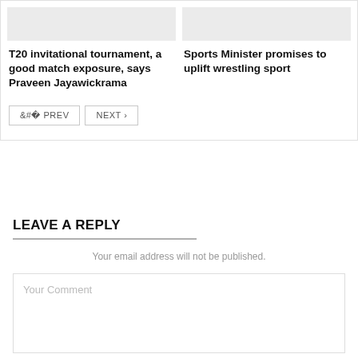[Figure (other): Gray placeholder image for article thumbnail (left)]
[Figure (other): Gray placeholder image for article thumbnail (right)]
T20 invitational tournament, a good match exposure, says Praveen Jayawickrama
Sports Minister promises to uplift wrestling sport
< PREV   NEXT >
LEAVE A REPLY
Your email address will not be published.
Your Comment